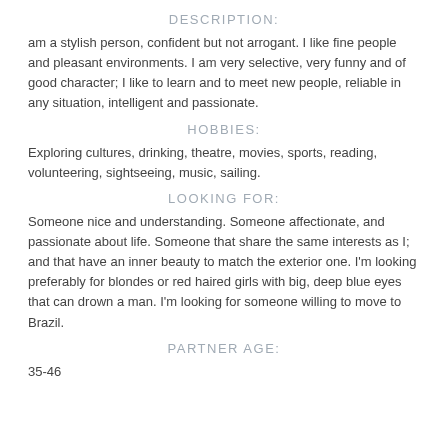DESCRIPTION:
am a stylish person, confident but not arrogant. I like fine people and pleasant environments. I am very selective, very funny and of good character; I like to learn and to meet new people, reliable in any situation, intelligent and passionate.
HOBBIES:
Exploring cultures, drinking, theatre, movies, sports, reading, volunteering, sightseeing, music, sailing.
LOOKING FOR:
Someone nice and understanding. Someone affectionate, and passionate about life. Someone that share the same interests as I; and that have an inner beauty to match the exterior one. I'm looking preferably for blondes or red haired girls with big, deep blue eyes that can drown a man. I'm looking for someone willing to move to Brazil.
PARTNER AGE:
35-46